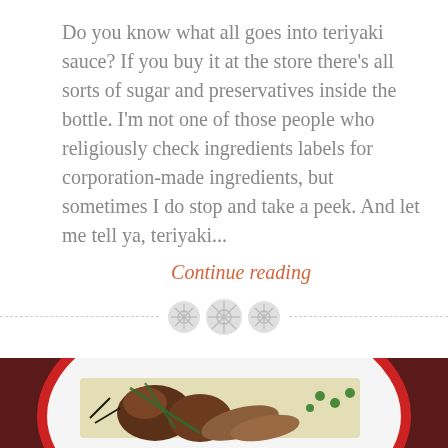Do you know what all goes into teriyaki sauce? If you buy it at the store there's all sorts of sugar and preservatives inside the bottle. I'm not one of those people who religiously check ingredients labels for corporation-made ingredients, but sometimes I do stop and take a peek. And let me tell ya, teriyaki...
Continue reading
[Figure (photo): A bowl of Asian noodle dish with mushrooms, green onions, and meat, served in a white bowl with red rim, viewed from above.]